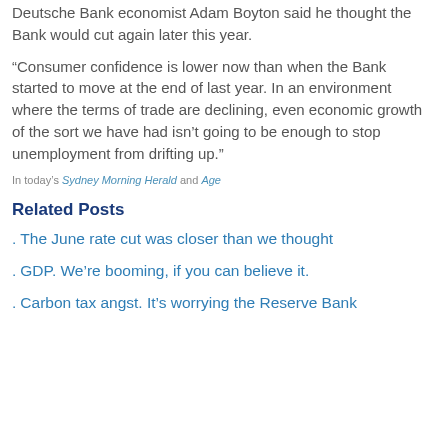Deutsche Bank economist Adam Boyton said he thought the Bank would cut again later this year.
“Consumer confidence is lower now than when the Bank started to move at the end of last year. In an environment where the terms of trade are declining, even economic growth of the sort we have had isn’t going to be enough to stop unemployment from drifting up.”
In today’s Sydney Morning Herald and Age
Related Posts
. The June rate cut was closer than we thought
. GDP. We’re booming, if you can believe it.
. Carbon tax angst. It’s worrying the Reserve Bank